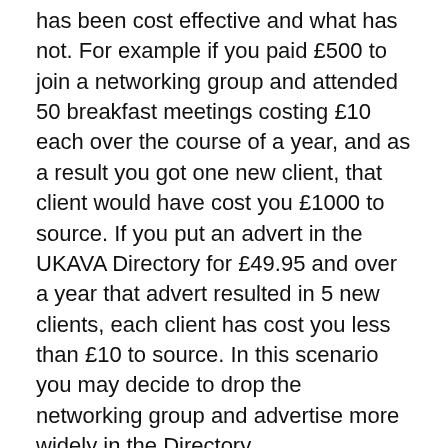has been cost effective and what has not. For example if you paid £500 to join a networking group and attended 50 breakfast meetings costing £10 each over the course of a year, and as a result you got one new client, that client would have cost you £1000 to source. If you put an advert in the UKAVA Directory for £49.95 and over a year that advert resulted in 5 new clients, each client has cost you less than £10 to source. In this scenario you may decide to drop the networking group and advertise more widely in the Directory.
The important point is that you can't improve on what you don't measure so if you don't know what is working for you, and what is not, how can you expect to improve